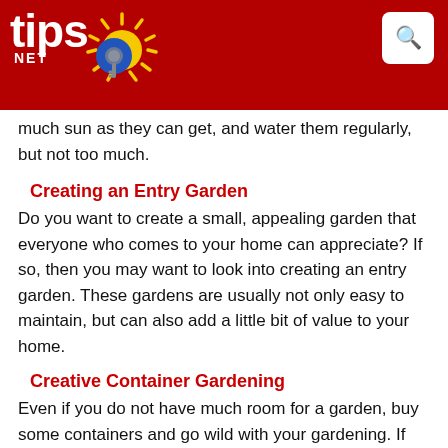tips.net
much sun as they can get, and water them regularly, but not too much.
Creating an Entry Garden
Do you want to create a small, appealing garden that everyone who comes to your home can appreciate? If so, then you may want to look into creating an entry garden. These gardens are usually not only easy to maintain, but can also add a little bit of value to your home.
Creative Container Gardening
Even if you do not have much room for a garden, buy some containers and go wild with your gardening. If you are creative about what you grow and where you put your plants, you can make a display that can rival even those who have plenty of yard space. Experiment and find out what you like—there is not wrong answer here. Just be sure to take care of your plants or they could die off and leave you with only containers.
Easy Container Herb Gardens
When you think of container gardening, do you think of small pots or plastic